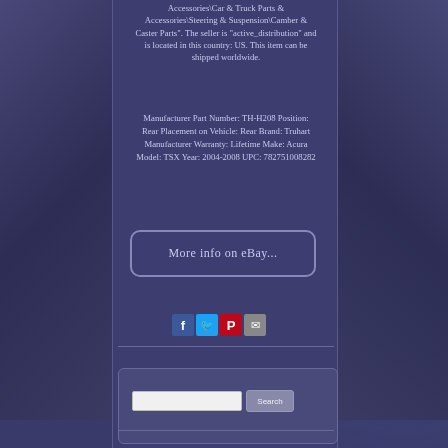Accessories\Car & Truck Parts & Accessories\Steering & Suspension\Camber & Caster Parts". The seller is "active_distribution" and is located in this country: US. This item can be shipped worldwide.
Manufacturer Part Number: TH-H208 Position: Rear Placement on Vehicle: Rear Brand: Truhart Manufacturer Warranty: Lifetime Make: Acura Model: TSX Year: 2004-2008 UPC: 782751008282
[Figure (other): Rounded rectangle button with text 'More info on eBay...' on dark blue background]
[Figure (other): Social media share icons: Facebook (blue), Twitter (light blue), Pinterest (red), Email (grey)]
[Figure (other): Search box with text input field and Search button]